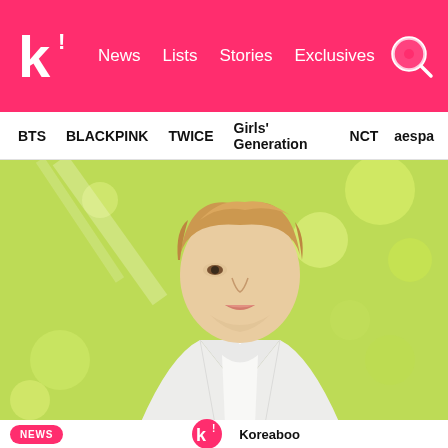k! News Lists Stories Exclusives [search]
BTS BLACKPINK TWICE Girls' Generation NCT aespa
[Figure (photo): A young Korean male with light reddish-brown hair wearing a white blazer, looking upward to the left, photographed against a bright, softly blurred green background with sunlight. The photo has a dreamy, soft-focus aesthetic.]
NEWS  [k! logo]  Koreaboo